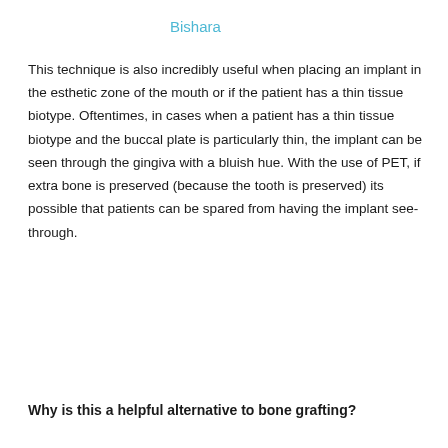Bishara
This technique is also incredibly useful when placing an implant in the esthetic zone of the mouth or if the patient has a thin tissue biotype. Oftentimes, in cases when a patient has a thin tissue biotype and the buccal plate is particularly thin, the implant can be seen through the gingiva with a bluish hue. With the use of PET, if extra bone is preserved (because the tooth is preserved) its possible that patients can be spared from having the implant see-through.
Why is this a helpful alternative to bone grafting?